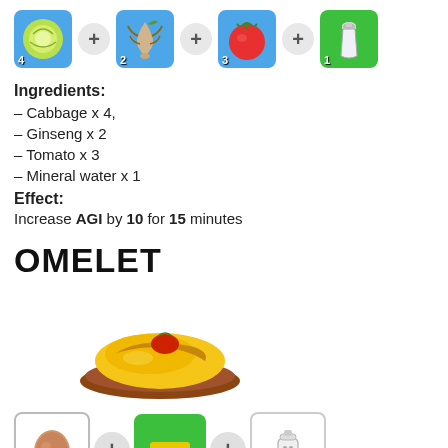[Figure (illustration): Row of ingredient icons: Cabbage x4 (blue), plus, Ginseng x2 (blue), plus, Tomato x3 (blue), plus, Mineral water x1 (green)]
Ingredients:
– Cabbage x 4,
– Ginseng x 2
– Tomato x 3
– Mineral water x 1
Effect:
Increase AGI by 10 for 15 minutes
OMELET
[Figure (illustration): Omelet dish illustration - a golden omelette with tomato on a brown plate]
[Figure (illustration): Row of ingredient icons: Egg x4 (white border), plus, Butter x3 (green), plus, Salt x3 (white border)]
Ingredients: